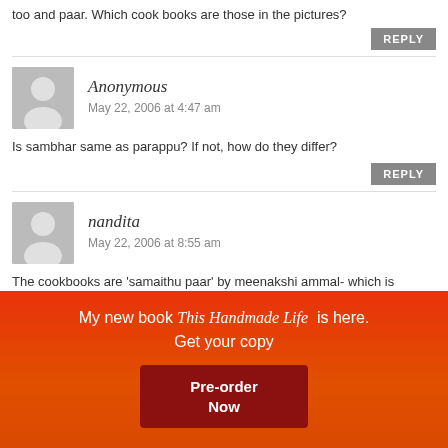too and paar. Which cook books are those in the pictures?
REPLY
Anonymous
May 22, 2006 at 4:47 am
Is sambhar same as parappu? If not, how do they differ?
REPLY
nandita
May 22, 2006 at 8:55 am
The cookbooks are 'samaithu paar' by meenakshi ammal- which is translated in english to Cook and See. The recipe is
My new book This Handmade Life is here. Get your copy
Pre-order Now